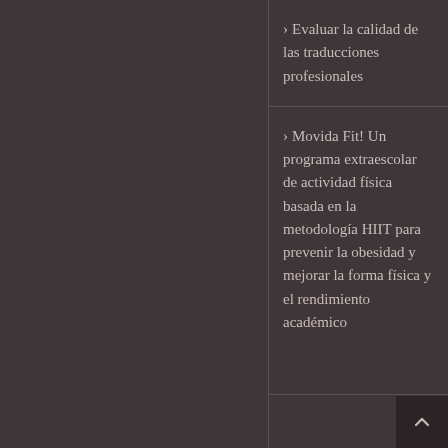Evaluar la calidad de las traducciones profesionales
Movida Fit! Un programa extraescolar de actividad física basada en la metodología HIIT para prevenir la obesidad y mejorar la forma física y el rendimiento académico